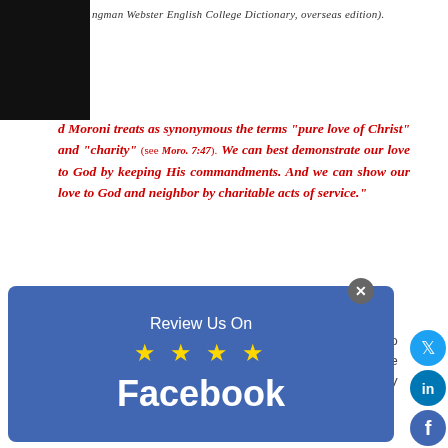ngman Webster English College Dictionary, overseas edition).
d Moroni treats as synonymous the terms "pure love of Christ" and "charity" (see Moro. 7:47). We can best demonstrate our love to God by keeping His commandments. And we can show our love to God and neighbor by charitable acts of service."
The most charitable act that parents can do for their loved ones is by keeping the commandments, which is to honor family relationships.
THREE PILLARS OF RELATIONSHIP
I have developed my own hierarchical interpretation of relationship... relationships in my estimation are the most important.
1. A relationship with God (the most important of the three significant relationships.)
2. A relationship with spouses—husbands and wives.
3. A relationship with children:
[Figure (infographic): Facebook 'Review Us On' overlay with 4 yellow stars and Facebook text on blue background]